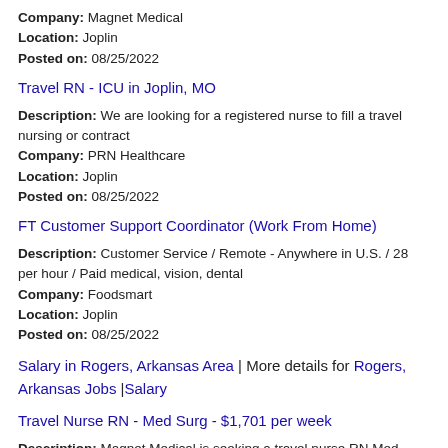Company: Magnet Medical
Location: Joplin
Posted on: 08/25/2022
Travel RN - ICU in Joplin, MO
Description: We are looking for a registered nurse to fill a travel nursing or contract
Company: PRN Healthcare
Location: Joplin
Posted on: 08/25/2022
FT Customer Support Coordinator (Work From Home)
Description: Customer Service / Remote - Anywhere in U.S. / 28 per hour / Paid medical, vision, dental
Company: Foodsmart
Location: Joplin
Posted on: 08/25/2022
Salary in Rogers, Arkansas Area | More details for Rogers, Arkansas Jobs |Salary
Travel Nurse RN - Med Surg - $1,701 per week
Description: Magnet Medical is seeking a travel nurse RN Med Surg for a travel nursing job in Joplin, Missouri. Job Description...